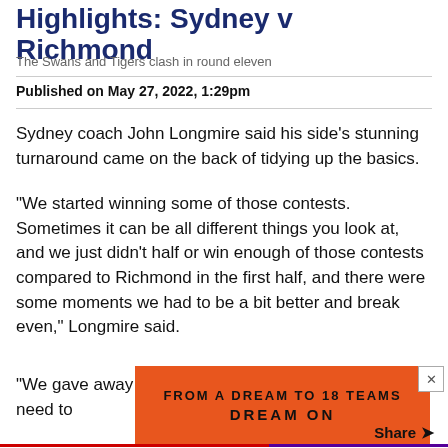Highlights: Sydney v Richmond
The Swans and Tigers clash in round eleven
Published on May 27, 2022, 1:29pm
Sydney coach John Longmire said his side's stunning turnaround came on the back of tidying up the basics.
"We started winning some of those contests. Sometimes it can be all different things you look at, and we just didn't half or win enough of those contests compared to Richmond in the first half, and there were some moments we had to be a bit better and break even," Longmire said.
"We gave away free kicks off the ball and things we need to
[Figure (infographic): Orange advertisement banner reading 'FROM A DREAM TO 18 TEAMS DREAM ON' with a close button]
Share